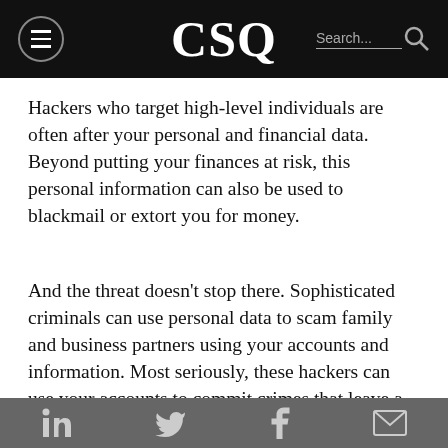CSQ — Search...
Hackers who target high-level individuals are often after your personal and financial data. Beyond putting your finances at risk, this personal information can also be used to blackmail or extort you for money.
And the threat doesn't stop there. Sophisticated criminals can use personal data to scam family and business partners using your accounts and information. Most seriously, these hackers can use your accounts to commit crimes that leave a trail
in  f (mail icon)